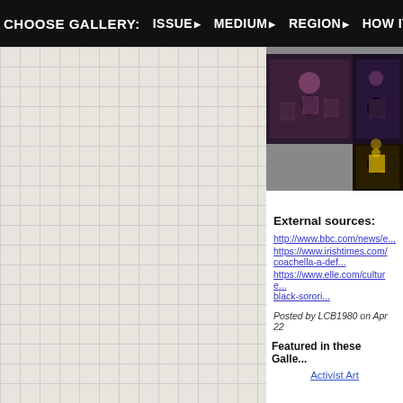CHOOSE GALLERY: ISSUE▶ MEDIUM▶ REGION▶ HOW IT WORKS▶
[Figure (photo): Two concert/performance photos showing performers on stage. Left photo: group of performers in dark clothing. Right photo: performer in yellow/gold costume.]
External sources:
http://www.bbc.com/news/e...
https://www.irishtimes.com/...coachella-a-def...
https://www.elle.com/culture...black-sorori...
Posted by LCB1980 on Apr 22
Featured in these Galleries
Activist Art